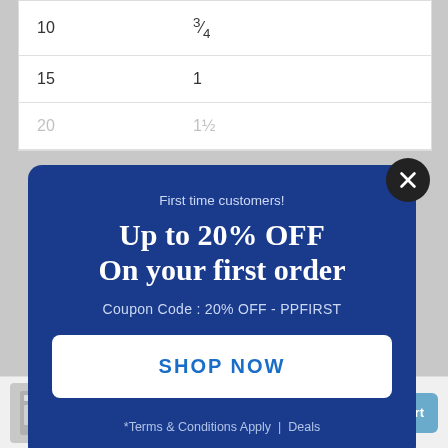| 10 | ¾ |
| 15 | 1 |
| … | … |
[Figure (screenshot): Promotional modal popup with dark navy blue background. Text: 'First time customers! Up to 20% OFF On your first order. Coupon Code : 20% OFF - PPFIRST'. White 'SHOP NOW' button. Footer: '*Terms & Conditions Apply | Deals'. Close button (X) in top right corner.]
Earn up to 220 Points.
- 1 + Add to cart